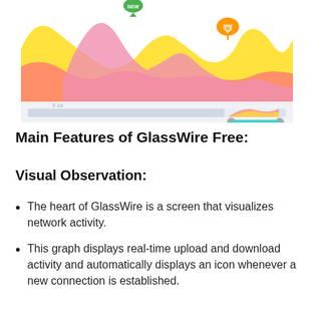[Figure (screenshot): Screenshot of GlassWire network activity graph showing colored area chart with yellow, pink, and coral/orange layered areas representing network traffic over time, with location pin markers and a timeline scrubber below.]
Main Features of GlassWire Free:
Visual Observation:
The heart of GlassWire is a screen that visualizes network activity.
This graph displays real-time upload and download activity and automatically displays an icon whenever a new connection is established.